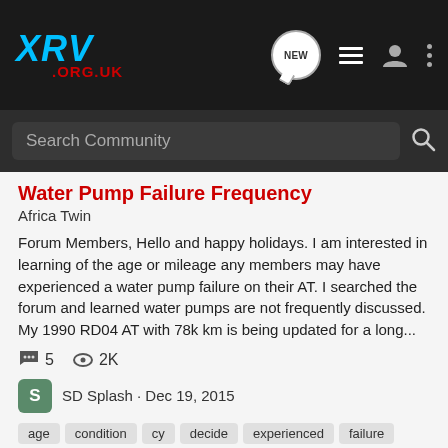XRV .ORG.UK
Water Pump Failure Frequency
Africa Twin
Forum Members, Hello and happy holidays. I am interested in learning of the age or mileage any members may have experienced a water pump failure on their AT. I searched the forum and learned water pumps are not frequently discussed. My 1990 RD04 AT with 78k km is being updated for a long...
5  2K
SD Splash · Dec 19, 2015
age
condition
cy
decide
experienced
failure
feedback
forum
functioning
happy
holidays
install
journey
learning
long
members
mileage
motorcycle
nex